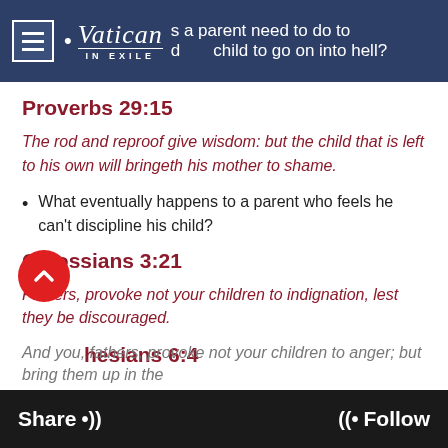Vatican In Exile
Proverbs 29:15
The rod and reproof give wisdom: but the child that is left to his own will bringeth his mother to shame.
What eventually happens to a parent who feels he can’t discipline his child?
Colossians 3:21
Fathers, provoke not your children to indignation, lest they be discouraged.
Ephesians 6:4
And you, fathers, provoke not your children to anger; but bring them up in the
Share    Follow